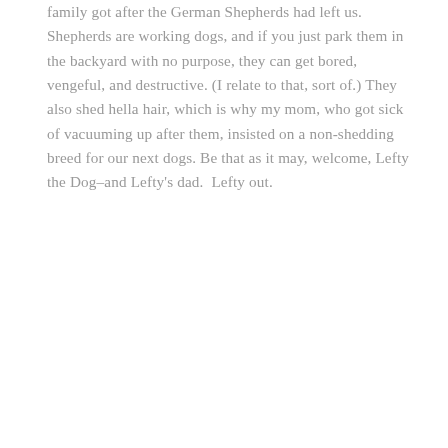family got after the German Shepherds had left us. Shepherds are working dogs, and if you just park them in the backyard with no purpose, they can get bored, vengeful, and destructive. (I relate to that, sort of.) They also shed hella hair, which is why my mom, who got sick of vacuuming up after them, insisted on a non-shedding breed for our next dogs. Be that as it may, welcome, Lefty the Dog–and Lefty's dad.  Lefty out.